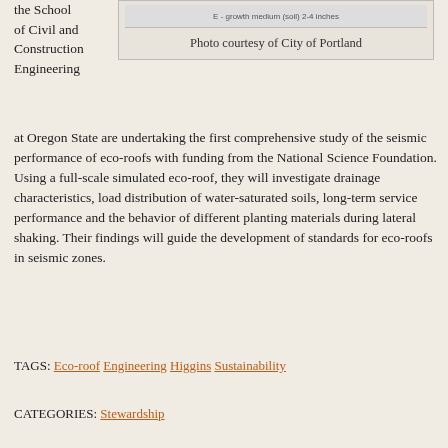the School of Civil and Construction Engineering
[Figure (photo): Photo of an eco-roof cross-section diagram with a small label reading 'E - growth medium (soil) 2-4 inches'. Caption reads: Photo courtesy of City of Portland.]
Photo courtesy of City of Portland
at Oregon State are undertaking the first comprehensive study of the seismic performance of eco-roofs with funding from the National Science Foundation. Using a full-scale simulated eco-roof, they will investigate drainage characteristics, load distribution of water-saturated soils, long-term service performance and the behavior of different planting materials during lateral shaking. Their findings will guide the development of standards for eco-roofs in seismic zones.
TAGS: Eco-roof Engineering Higgins Sustainability
CATEGORIES: Stewardship